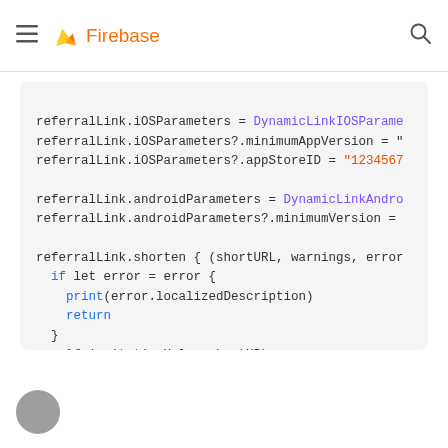Firebase
[Figure (screenshot): Code block showing Swift code for Firebase Dynamic Links: setting iOS parameters, Android parameters, and shortening a link with a completion handler.]